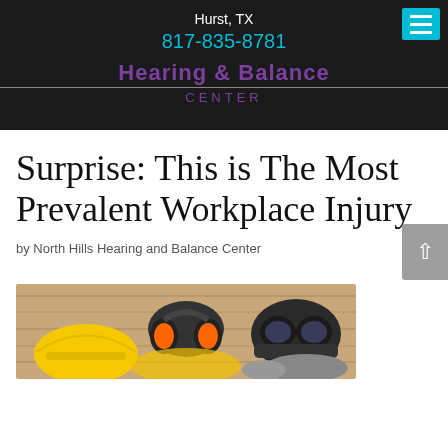Hurst, TX
817-835-8781
[Figure (logo): Hearing & Balance Center logo with purple text on dark background]
Surprise: This is The Most Prevalent Workplace Injury
by North Hills Hearing and Balance Center
[Figure (photo): Safety equipment including hard hat, ear protection headphones, goggles, and work gloves arranged on a wooden surface]